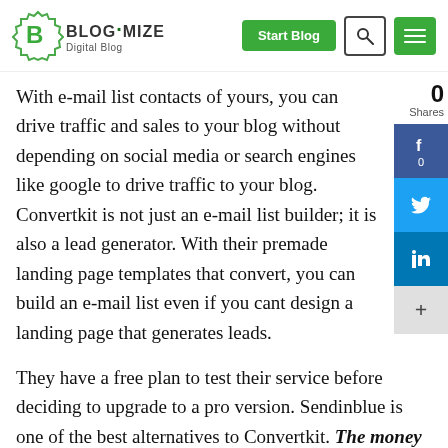Blogimize Digital Blog — Start Blog navigation header
With e-mail list contacts of yours, you can drive traffic and sales to your blog without depending on social media or search engines like google to drive traffic to your blog. Convertkit is not just an e-mail list builder; it is also a lead generator. With their premade landing page templates that convert, you can build an e-mail list even if you cant design a landing page that generates leads.
They have a free plan to test their service before deciding to upgrade to a pro version. Sendinblue is one of the best alternatives to Convertkit. The money is on the list. You only pay when you send